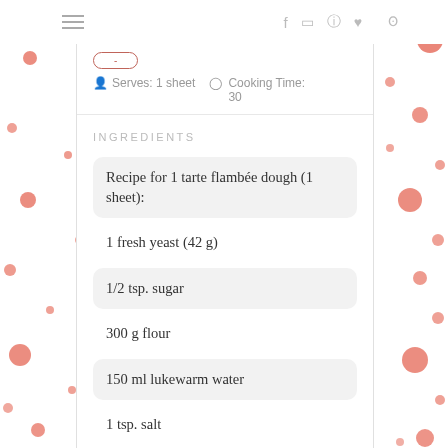≡   f  ◻  ⊕  ♥  )))
Serves: 1 sheet   🕐 Cooking Time: 30
INGREDIENTS
Recipe for 1 tarte flambée dough (1 sheet):
1 fresh yeast (42 g)
1/2 tsp. sugar
300 g flour
150 ml lukewarm water
1 tsp. salt